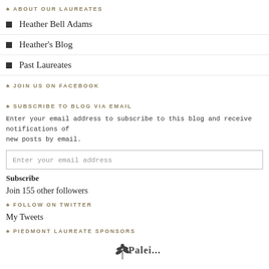ABOUT OUR LAUREATES
Heather Bell Adams
Heather's Blog
Past Laureates
JOIN US ON FACEBOOK
SUBSCRIBE TO BLOG VIA EMAIL
Enter your email address to subscribe to this blog and receive notifications of new posts by email.
Enter your email address
Subscribe
Join 155 other followers
FOLLOW ON TWITTER
My Tweets
PIEDMONT LAUREATE SPONSORS
[Figure (logo): Partial logo image at bottom of page]